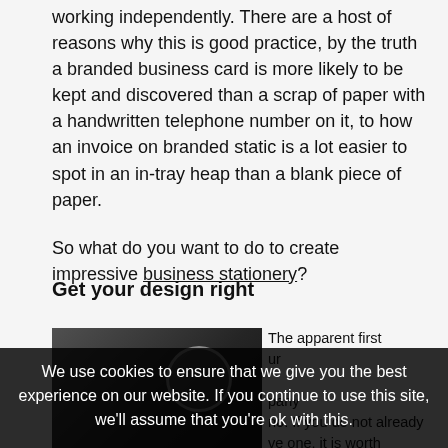working independently. There are a host of reasons why this is good practice, by the truth a branded business card is more likely to be kept and discovered than a scrap of paper with a handwritten telephone number on it, to how an invoice on branded static is a lot easier to spot in an in-tray heap than a blank piece of paper.
So what do you want to do to create impressive business stationery?
Get your design right
[Figure (photo): Dark photograph showing business cards or stationery items on a wooden surface]
The apparent first ... your ... company ... no. If you do not already ... ve one, it is worth investing in a general...
We use cookies to ensure that we give you the best experience on our website. If you continue to use this site, we'll assume that you're ok with this.
Ok